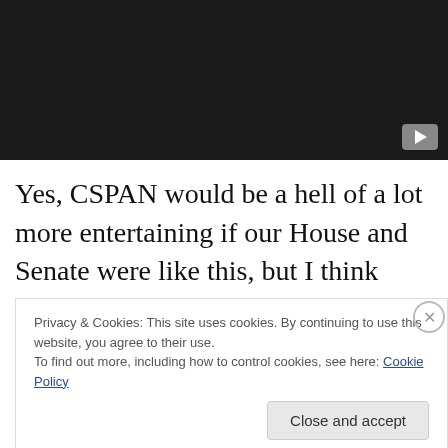[Figure (screenshot): Dark video player area with YouTube play button in bottom-right corner]
Yes, CSPAN would be a hell of a lot more entertaining if our House and Senate were like this, but I think graciousness is a quality that trumps my amusement when it comes to sorting out the country in which I reside and its
Privacy & Cookies: This site uses cookies. By continuing to use this website, you agree to their use.
To find out more, including how to control cookies, see here: Cookie Policy
Close and accept